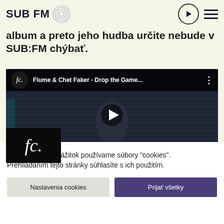SUB FM
album a preto jeho hudba určite nebude v SUB:FM chýbať.
[Figure (screenshot): YouTube video embed showing 'Flume & Chet Faker - Drop the Game...' with fc. channel logo, dark background with a person in a hoodie, and a play button in the center. Bottom-left shows fc. channel thumbnail.]
Pre lepší online zážitok používame súbory "cookies". Prehliadaním tejto stránky súhlasíte s ich použitím.
Nastavenia cookies
Prijať všetky